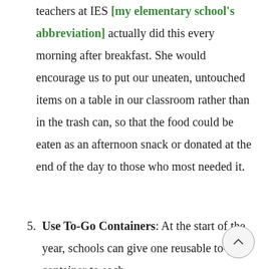teachers at IES [my elementary school's abbreviation] actually did this every morning after breakfast. She would encourage us to put our uneaten, untouched items on a table in our classroom rather than in the trash can, so that the food could be eaten as an afternoon snack or donated at the end of the day to those who most needed it.
5. Use To-Go Containers: At the start of the year, schools can give one reusable to-go container to each